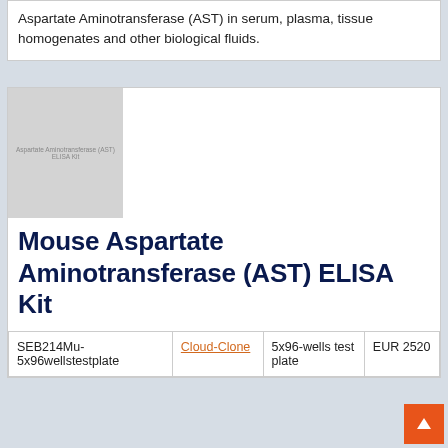Aspartate Aminotransferase (AST) in serum, plasma, tissue homogenates and other biological fluids.
[Figure (photo): Product image placeholder showing Aspartate Aminotransferase (AST) ELISA Kit packaging]
Mouse Aspartate Aminotransferase (AST) ELISA Kit
| Catalog Number | Supplier | Size | Price |
| --- | --- | --- | --- |
| SEB214Mu-5x96wellstestplate | Cloud-Clone | 5x96-wells test plate | EUR 2520 |